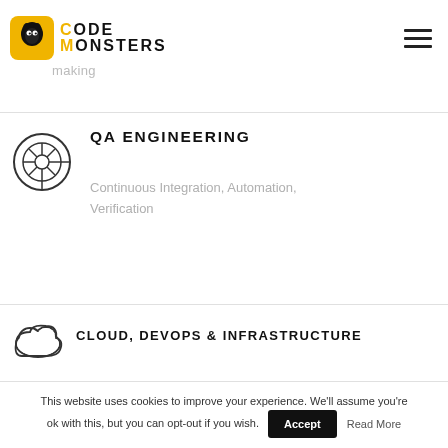CODE MONSTERS
making
QA ENGINEERING
Continuous Integration, Automation, Verification
CLOUD, DEVOPS & INFRASTRUCTURE
This website uses cookies to improve your experience. We'll assume you're ok with this, but you can opt-out if you wish.